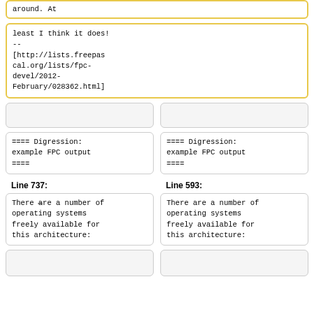around. At
least I think it does!
--
[http://lists.freepascal.org/lists/fpc-devel/2012-February/028362.html]
==== Digression: example FPC output ====
==== Digression: example FPC output ====
Line 737:
Line 593:
There are a number of operating systems freely available for this architecture:
There are a number of operating systems freely available for this architecture: